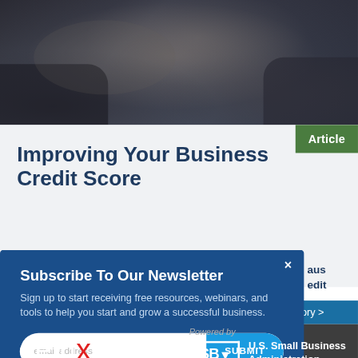[Figure (photo): Person relaxing on couch/pillows with laptop or tablet, viewed from above, dark pillows and cushions]
Improving Your Business Credit Score
Article
[Figure (screenshot): Newsletter subscription modal overlay with blue background. Title: Subscribe To Our Newsletter. Body: Sign up to start receiving free resources, webinars, and tools to help you start and grow a successful business. Email address input field with SUBMIT button.]
[Figure (logo): Deluxe logo in white text with red X on dark gray background]
Powered by
[Figure (logo): U.S. Small Business Administration (SBA) logo — white letters in bordered box with red bottom border, next to text reading U.S. Small Business Administration]